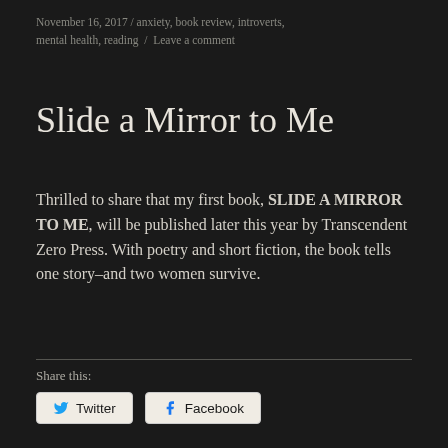November 16, 2017 / anxiety, book review, introverts, mental health, reading / Leave a comment
Slide a Mirror to Me
Thrilled to share that my first book, SLIDE A MIRROR TO ME, will be published later this year by Transcendent Zero Press. With poetry and short fiction, the book tells one story–and two women survive.
Share this: